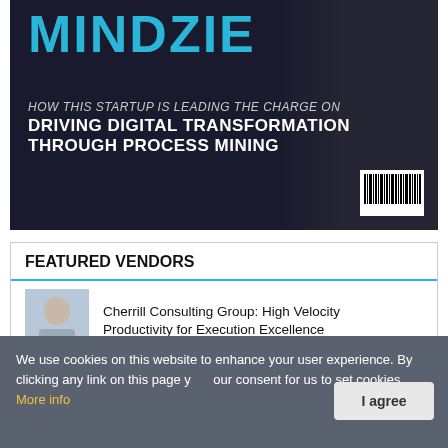[Figure (photo): Magazine cover with dark background showing 'MINDZIE' in large cyan letters, with subtitle 'HOW THIS STARTUP IS LEADING THE CHARGE ON DRIVING DIGITAL TRANSFORMATION THROUGH PROCESS MINING', a barcode in the bottom right, and a person in a suit visible on the right side.]
FEATURED VENDORS
Cherrill Consulting Group: High Velocity Productivity for Execution Excellence
OBO: Aligning People, Process, and Technology for Improved Outcomes
We use cookies on this website to enhance your user experience. By clicking any link on this page you give your consent for us to set cookies. More info